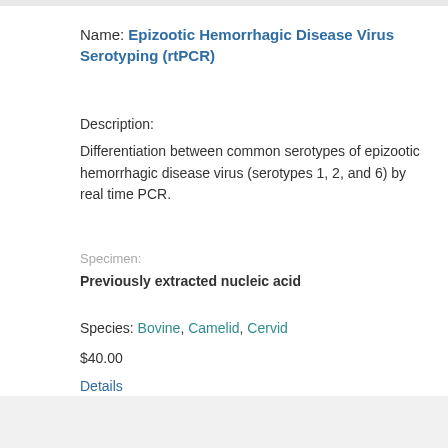Name: Epizootic Hemorrhagic Disease Virus Serotyping (rtPCR)
Description:
Differentiation between common serotypes of epizootic hemorrhagic disease virus (serotypes 1, 2, and 6) by real time PCR.
Specimen:
Previously extracted nucleic acid
Species: Bovine, Camelid, Cervid
$40.00
Details
Name: Epizootic Hemorrhagic Disease Virus (rtPCR)